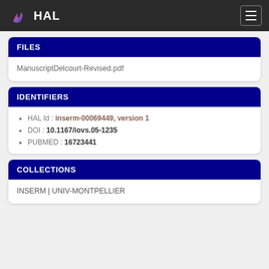HAL
FILES
ManuscriptDelcourt-Revised.pdf
IDENTIFIERS
HAL Id : inserm-00069449, version 1
DOI : 10.1167/iovs.05-1235
PUBMED : 16723441
COLLECTIONS
INSERM | UNIV-MONTPELLIER